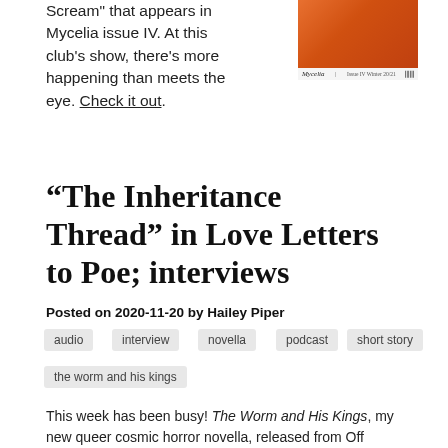Scream" that appears in Mycelia issue IV. At this club's show, there's more happening than meets the eye. Check it out.
[Figure (illustration): Cover of Mycelia magazine, Issue IV Winter 20/21, showing an orange/red gradient cover with the Mycelia title and barcode.]
“The Inheritance Thread” in Love Letters to Poe; interviews
Posted on 2020-11-20 by Hailey Piper
audio
interview
novella
podcast
short story
the worm and his kings
This week has been busy! The Worm and His Kings, my new queer cosmic horror novella, released from Off Limits Press